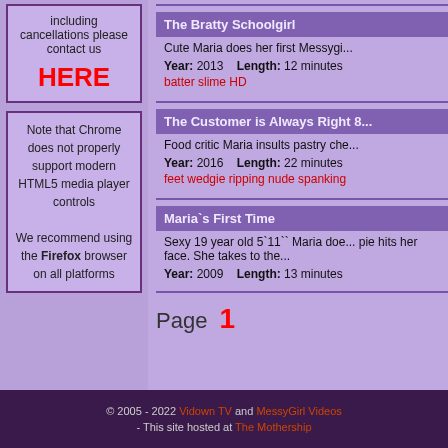including cancellations please contact us HERE
Note that Chrome does not properly support modern HTML5 media player controls

We recommend using the Firefox browser on all platforms
The Bratty Schoolgirl
Cute Maria does her first Messygi...
Year: 2013   Length: 12 minutes
batter slime HD
The Customer is Always Right 8
Food critic Maria insults pastry che...
Year: 2016   Length: 22 minutes
feet wedgie ripping nude spanking
Maria`s First Time
Sexy 19 year old 5`11`` Maria doe... pie hits her face. She takes to the...
Year: 2009   Length: 13 minutes
Page  1
© 2005 - 2022 Vidown TV and MessyGirl Videos
- This site hosted at The Mothership